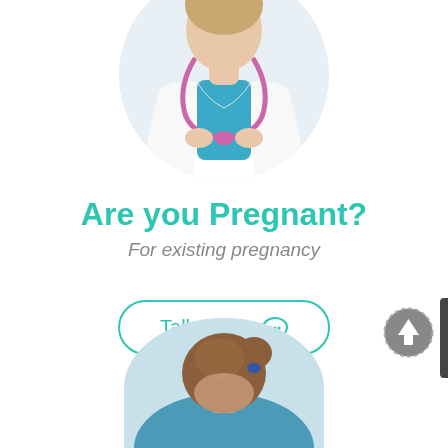[Figure (photo): Circular cropped photo of a doctor in white lab coat with stethoscope and blue scrubs, hands clasped in front]
Are you Pregnant?
For existing pregnancy
[Figure (other): Rounded rectangle button with teal border reading 'Talk To Us' with a speech/chat bubble icon]
[Figure (other): Circular dashed-border up-arrow navigation button on the right side]
[Figure (photo): Partial photo of a person with brown hair in a bun wearing blue scrubs, shown from behind/top, partially cropped at bottom of page]